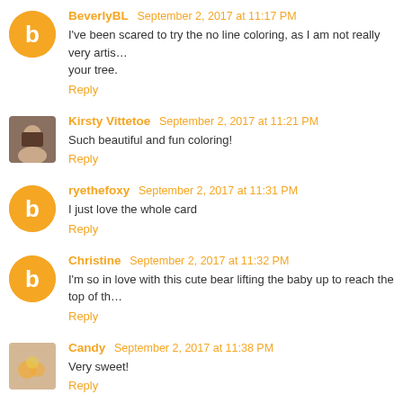BeverlyBL September 2, 2017 at 11:17 PM
I've been scared to try the no line coloring, as I am not really very artis... your tree.
Reply
Kirsty Vittetoe September 2, 2017 at 11:21 PM
Such beautiful and fun coloring!
Reply
ryethefoxy September 2, 2017 at 11:31 PM
I just love the whole card
Reply
Christine September 2, 2017 at 11:32 PM
I'm so in love with this cute bear lifting the baby up to reach the top of th...
Reply
Candy September 2, 2017 at 11:38 PM
Very sweet!
Reply